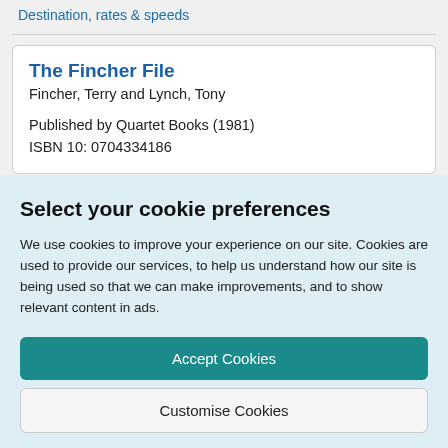Destination, rates & speeds
The Fincher File
Fincher, Terry and Lynch, Tony
Published by Quartet Books (1981)
ISBN 10: 0704334186
Select your cookie preferences
We use cookies to improve your experience on our site. Cookies are used to provide our services, to help us understand how our site is being used so that we can make improvements, and to show relevant content in ads.
Accept Cookies
Customise Cookies